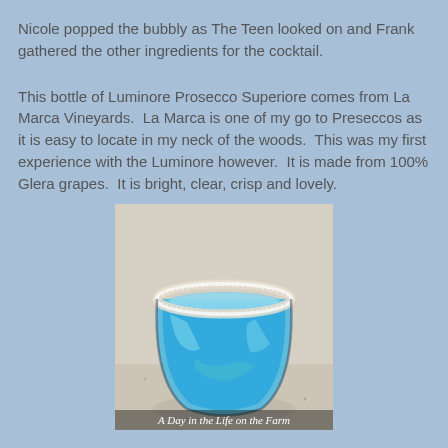Nicole popped the bubbly as The Teen looked on and Frank gathered the other ingredients for the cocktail.
This bottle of Luminore Prosecco Superiore comes from La Marca Vineyards. La Marca is one of my go to Preseccos as it is easy to locate in my neck of the woods. This was my first experience with the Luminore however. It is made from 100% Glera grapes. It is bright, clear, crisp and lovely.
[Figure (photo): A glass bowl filled with a bright blue frozen/slushy cocktail with a sugared rim, sitting on a granite countertop. At the bottom of the image text reads 'A Day in the Life on the Farm'.]